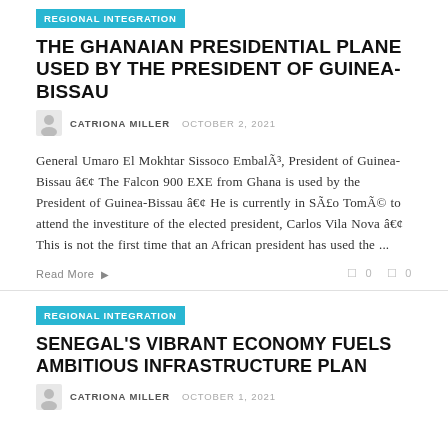REGIONAL INTEGRATION
THE GHANAIAN PRESIDENTIAL PLANE USED BY THE PRESIDENT OF GUINEA-BISSAU
CATRIONA MILLER  OCTOBER 2, 2021
General Umaro El Mokhtar Sissoco EmbalÃ³, President of Guinea-Bissau â€¢ The Falcon 900 EXE from Ghana is used by the President of Guinea-Bissau â€¢ He is currently in SÃ£o TomÃ© to attend the investiture of the elected president, Carlos Vila Nova â€¢ This is not the first time that an African president has used the ...
Read More  0  0
REGIONAL INTEGRATION
SENEGAL'S VIBRANT ECONOMY FUELS AMBITIOUS INFRASTRUCTURE PLAN
CATRIONA MILLER  OCTOBER 1, 2021